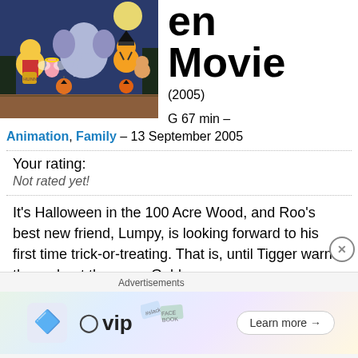[Figure (illustration): Movie poster image showing Winnie the Pooh characters in Halloween costumes including Pooh, Piglet, an elephant (Lumpy), Tigger, and Roo with pumpkin buckets against a spooky night background]
en Movie
(2005)
G 67 min –
Animation, Family – 13 September 2005
Your rating:
Not rated yet!
It's Halloween in the 100 Acre Wood, and Roo's best new friend, Lumpy, is looking forward to his first time trick-or-treating. That is, until Tigger warns them about the scary Gobloon,
[Figure (screenshot): Advertisement banner showing WordPress VIP logo with slack, Facebook and other social media brand icons, and a Learn more button]